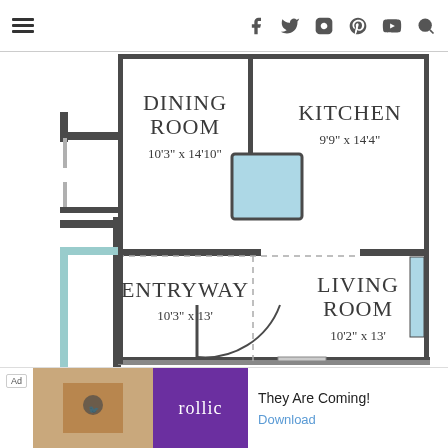Navigation header with hamburger menu and social/search icons
[Figure (schematic): Floor plan showing Dining Room (10'3" x 14'10"), Kitchen (9'9" x 14'4"), Entryway (10'3" x 13'), and Living Room (10'2" x 13') with walls, a door arc in entryway, a blue island/fixture in the kitchen area, and a dashed partition line.]
Ad — They Are Coming! Download